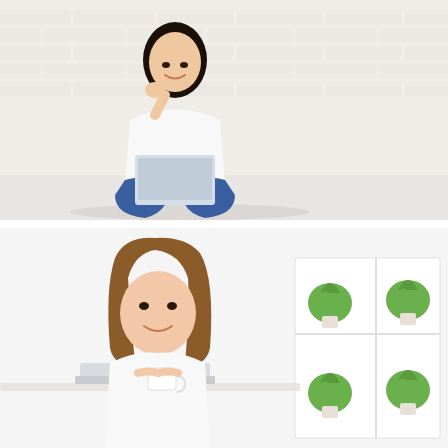[Figure (photo): Young Asian woman sitting cross-legged on the floor against a white brick wall, wearing a white t-shirt and blue jeans, working on a laptop computer, resting her chin on her hand and smiling while looking upward thoughtfully.]
[Figure (photo): Young Asian woman with long brown hair sitting at a desk, wearing a white top, smiling while holding a white cup and looking at a laptop. Background shows a bright white room with white shelving units containing small green potted plants.]